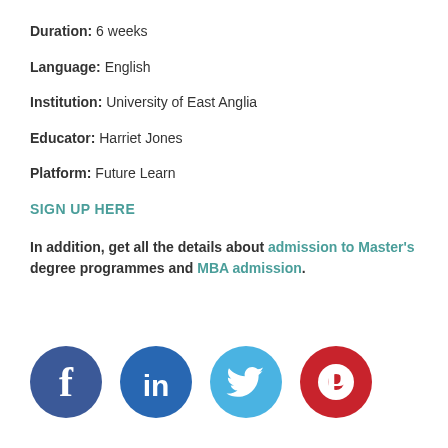Duration: 6 weeks
Language: English
Institution: University of East Anglia
Educator: Harriet Jones
Platform: Future Learn
SIGN UP HERE
In addition, get all the details about admission to Master's degree programmes and MBA admission.
[Figure (illustration): Social media icons: Facebook, LinkedIn, Twitter, Pinterest]